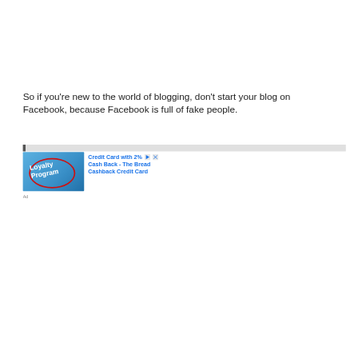So if you're new to the world of blogging, don't start your blog on Facebook, because Facebook is full of fake people.
[Figure (other): Advertisement banner with an image showing 'Loyalty Program' text written in cursive on a transparent surface, circled in red, with a blue sky and trees background. Ad text reads: 'Credit Card with 2% Cash Back - The Bread Cashback Credit Card']
Ad